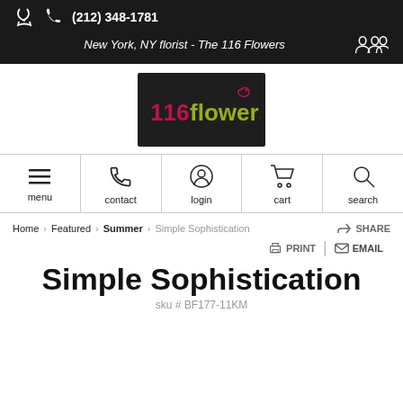(212) 348-1781
New York, NY florist - The 116 Flowers
[Figure (logo): 116flowers logo on dark background with stylized text and vine/curl symbol]
[Figure (infographic): Navigation bar with menu, contact, login, cart, search icons]
Home > Featured > Summer > Simple Sophistication  SHARE
PRINT | EMAIL
Simple Sophistication
sku # BF177-11KM